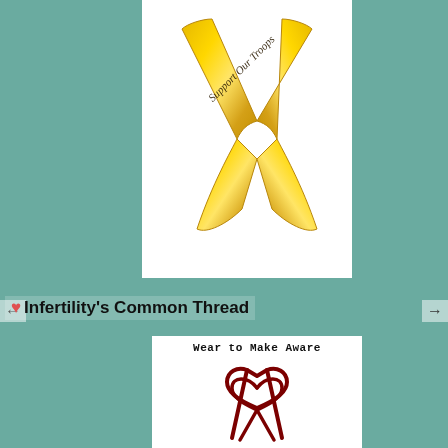[Figure (illustration): Teal/mint background with repeating circle-heart pattern: beige circles with teal hearts, pink-outlined circles with beige hearts, and pink hearts on teal circles arranged in a grid.]
[Figure (illustration): Gold/yellow 'Support Our Troops' awareness ribbon in an X shape with script text on white background]
Infertility's Common Thread
[Figure (illustration): Dark red/maroon infertility awareness ribbon outline on white background with text 'Wear to Make Aware' above it]